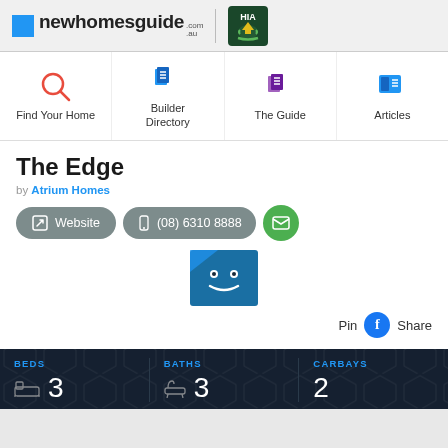newhomesguide.com.au
Find Your Home
Builder Directory
The Guide
Articles
The Edge
by Atrium Homes
Website
(08) 6310 8888
[Figure (logo): Atrium Homes logo thumbnail with smiley face icon]
Pin  Share
BEDS 3  BATHS 3  CARBAYS 2